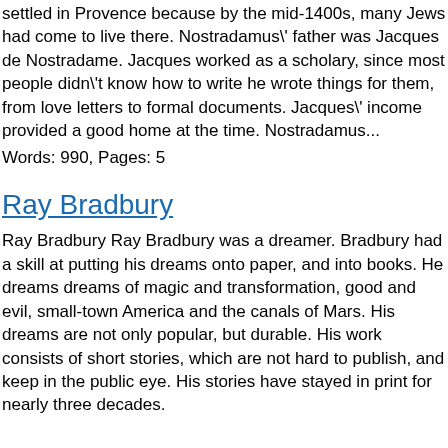settled in Provence because by the mid-1400s, many Jews had come to live there. Nostradamus\' father was Jacques de Nostradame. Jacques worked as a scholary, since most people didn\'t know how to write he wrote things for them, from love letters to formal documents. Jacques\' income provided a good home at the time. Nostradamus...
Words: 990, Pages: 5
Ray Bradbury
Ray Bradbury Ray Bradbury was a dreamer. Bradbury had a skill at putting his dreams onto paper, and into books. He dreams dreams of magic and transformation, good and evil, small-town America and the canals of Mars. His dreams are not only popular, but durable. His work consists of short stories, which are not hard to publish, and keep in the public eye. His stories have stayed in print for nearly three decades.